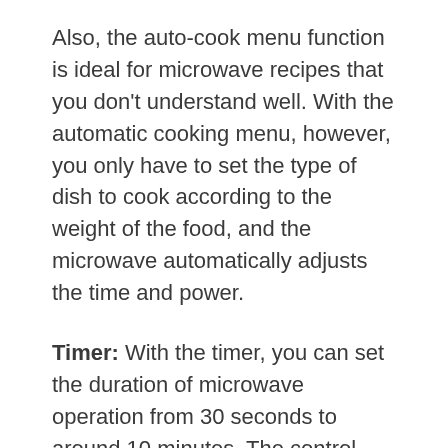Also, the auto-cook menu function is ideal for microwave recipes that you don't understand well. With the automatic cooking menu, however, you only have to set the type of dish to cook according to the weight of the food, and the microwave automatically adjusts the time and power.
Timer: With the timer, you can set the duration of microwave operation from 30 seconds to around 10 minutes. The control panels are in three types: Tact Dial Type, Feather Touch, and Mechanical Dial.
The mechanical dial is generally available on low-end models and can withstand heavy use. The Feather Touch recognizes your fingers as a